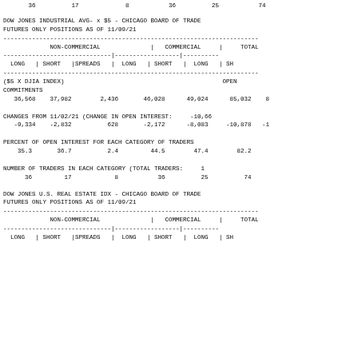| LONG | SHORT | SPREADS | LONG | SHORT | LONG | SH... |
| --- | --- | --- | --- | --- | --- | --- |
| 36 | 17 | 8 | 36 | 25 | 74 |  |
DOW JONES INDUSTRIAL AVG- x $5 - CHICAGO BOARD OF TRADE
FUTURES ONLY POSITIONS AS OF 11/09/21
| NON-COMMERCIAL | COMMERCIAL | TOTAL |
| --- | --- | --- |
| LONG | SHORT |SPREADS | | LONG | SHORT | | LONG | SH |
| ($5 X DJIA INDEX) |  |  |  |  | OPEN |
| COMMITMENTS |  |  |  |  |  |
| 36,568 | 37,982 | 2,436 | 46,028 | 49,024 | 85,032 | 8 |
| CHANGES FROM 11/02/21 (CHANGE IN OPEN INTEREST: |  |  |  | -10,66 |
| -9,334 | -2,832 | 628 | -2,172 | -8,083 | -10,878 | -1 |
| PERCENT OF OPEN INTEREST FOR EACH CATEGORY OF TRADERS |  |  |  |  |  |
| 35.3 | 36.7 | 2.4 | 44.5 | 47.4 | 82.2 |
| NUMBER OF TRADERS IN EACH CATEGORY (TOTAL TRADERS: |  |  |  | 1 |
| 36 | 17 | 8 | 36 | 25 | 74 |
DOW JONES U.S. REAL ESTATE IDX - CHICAGO BOARD OF TRADE
FUTURES ONLY POSITIONS AS OF 11/09/21
| NON-COMMERCIAL | COMMERCIAL | TOTAL |
| --- | --- | --- |
| LONG | SHORT |SPREADS | | LONG | SHORT | | LONG | SH |